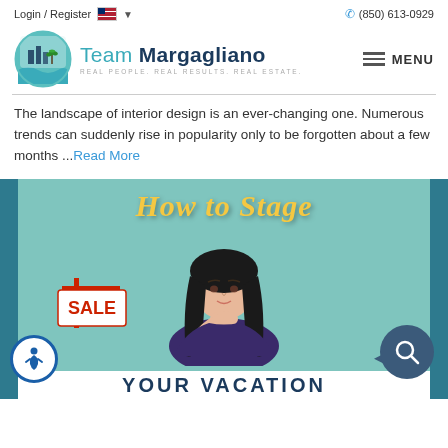Login / Register  🇺🇸 ▾   (850) 613-0929
[Figure (logo): Team Margagliano real estate logo with circular badge showing buildings and palm trees, teal and navy colors. Text: Team Margagliano. REAL PEOPLE. REAL RESULTS. REAL ESTATE.]
The landscape of interior design is an ever-changing one. Numerous trends can suddenly rise in popularity only to be forgotten about a few months ...Read More
[Figure (photo): Promotional banner image for 'How to Stage YOUR VACATION' featuring a young woman with dark hair resting her chin on her hand, a SALE real estate sign, on a teal background with yellow script text 'How to Stage' and bold navy text 'YOUR VACATION' at the bottom.]